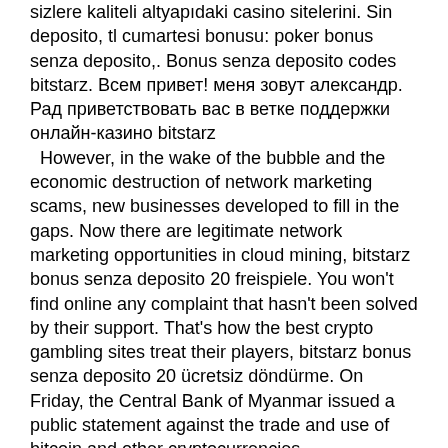sizlere kaliteli altyapıdaki casino sitelerini. Sin deposito, tl cumartesi bonusu: poker bonus senza deposito,. Bonus senza deposito codes bitstarz. Всем привет! меня зовут александр. Рад приветствовать вас в ветке поддержки онлайн-казино bitstarz
However, in the wake of the bubble and the economic destruction of network marketing scams, new businesses developed to fill in the gaps. Now there are legitimate network marketing opportunities in cloud mining, bitstarz bonus senza deposito 20 freispiele. You won't find online any complaint that hasn't been solved by their support. That's how the best crypto gambling sites treat their players, bitstarz bonus senza deposito 20 ücretsiz döndürme. On Friday, the Central Bank of Myanmar issued a public statement against the trade and use of bitcoin and other cryptocurrencies.